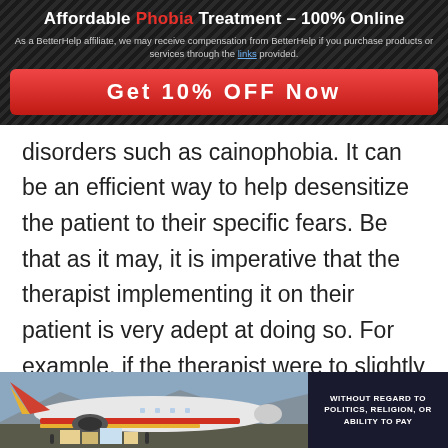Affordable Phobia Treatment - 100% Online
As a BetterHelp affiliate, we may receive compensation from BetterHelp if you purchase products or services through the links provided.
Get 10% OFF Now
disorders such as cainophobia. It can be an efficient way to help desensitize the patient to their specific fears. Be that as it may, it is imperative that the therapist implementing it on their patient is very adept at doing so. For example, if the therapist were to slightly expose someone with cainophobia to their fear, then it may not be very effective as they may need a higher amount of exposure to truly trigger any sort of worthwhile change in the patient.
[Figure (photo): Advertisement image showing an airplane being loaded with cargo, with a dark overlay on the right side reading WITHOUT REGARD TO POLITICS, RELIGION, OR ABILITY TO PAY]